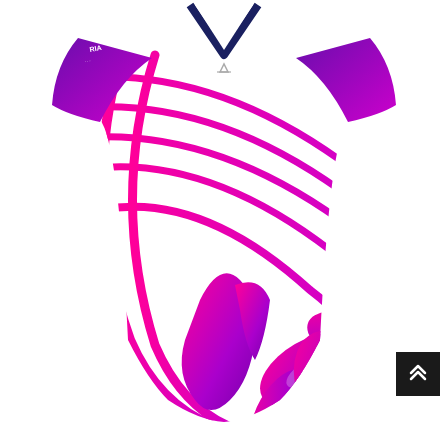[Figure (photo): Product photo of a white women's sports jersey with hot pink and purple gradient curved stripe design and a large floral/rugby ball logo graphic on the lower right. The jersey has short purple-gradient sleeves and a V-neck collar with navy trim. Brand logo (triangle mark) is visible on upper chest. Text 'RIA' and small text visible on upper left sleeve area.]
[Figure (other): Small black square button with double upward chevron arrows (scroll-to-top UI button), positioned in the lower right of the page.]